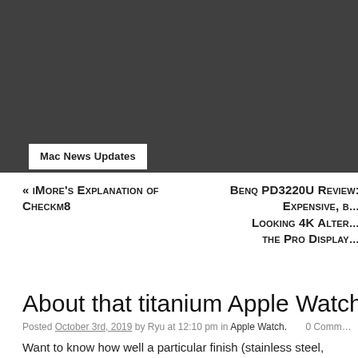Mac News Updates
« iMore's Explanation of Checkm8
Benq PD3220U Review: Expensive, but Good-Looking 4K Alternative to the Pro Display
About that titanium Apple Watch….
Posted October 3rd, 2019 by Ryu at 12:10 pm in Apple Watch. 0 Comments
Want to know how well a particular finish (stainless steel, aluminum) on iPhones/Apple Watches will hold up over time? Apple Store disp